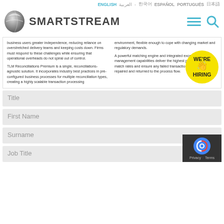ENGLISH العربية 한국어 ESPAÑOL PORTUGUÉS 日本語
[Figure (logo): SmartStream logo with sphere icon and SMARTSTREAM wordmark, plus hamburger menu and search icons]
business users greater independence, reducing reliance on overstretched delivery teams and keeping costs down. Firms must respond to these challenges while ensuring that operational overheads do not spiral out of control.
environment, flexible enough to cope with changing market and regulatory demands.
TLM Reconciliations Premium is a single, reconciliations-agnostic solution. It incorporates industry best practices in pre-configured business processes for multiple reconciliation types, creating a highly scalable transaction processing
A powerful matching engine and integrated exception management capabilities deliver the highest possible automated match rates and ensure any failed transactions are escalated, repaired and returned to the process flow.
[Figure (illustration): Yellow circular WE'RE HIRING badge with hand wave icon]
Title
First Name
Surname
Job Title
[Figure (logo): reCAPTCHA privacy badge with Google reCAPTCHA logo, Privacy and Terms links]